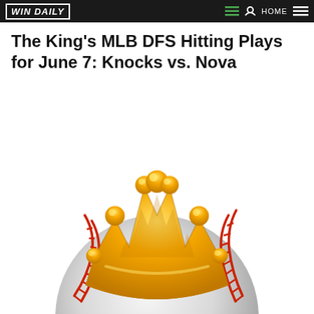WIN DAILY | HOME
The King's MLB DFS Hitting Plays for June 7: Knocks vs. Nova
[Figure (illustration): A golden crown sitting atop a white baseball with red stitching, on a white background.]